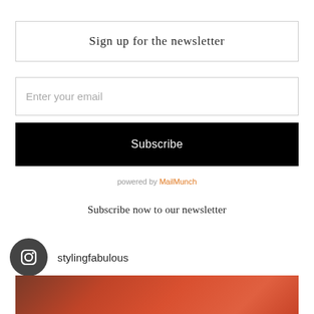Sign up for the newsletter
Enter your email
Subscribe
powered by MailMunch
Subscribe now to our newsletter
stylingfabulous
[Figure (photo): Partial photo of reddish/orange fabric or textile at the bottom of the page]